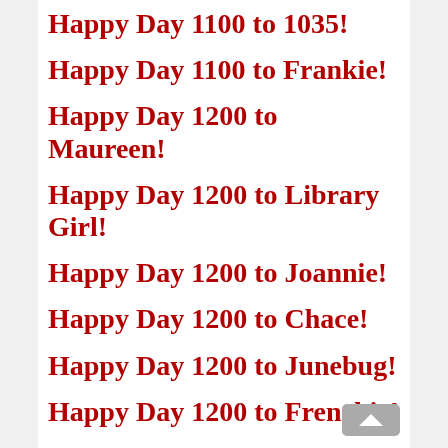Happy Day 1100 to 1035!
Happy Day 1100 to Frankie!
Happy Day 1200 to Maureen!
Happy Day 1200 to Library Girl!
Happy Day 1200 to Joannie!
Happy Day 1200 to Chace!
Happy Day 1200 to Junebug!
Happy Day 1200 to Frenchie!
Happy Day 1200 to Gabbygirl37!